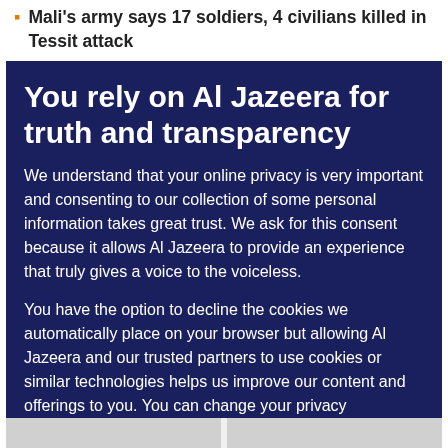Mali's army says 17 soldiers, 4 civilians killed in Tessit attack
You rely on Al Jazeera for truth and transparency
We understand that your online privacy is very important and consenting to our collection of some personal information takes great trust. We ask for this consent because it allows Al Jazeera to provide an experience that truly gives a voice to the voiceless.
You have the option to decline the cookies we automatically place on your browser but allowing Al Jazeera and our trusted partners to use cookies or similar technologies helps us improve our content and offerings to you. You can change your privacy preferences at any time by selecting ‘Cookie preferences’ at the bottom of your screen. To learn more, please view our Cookie Policy.